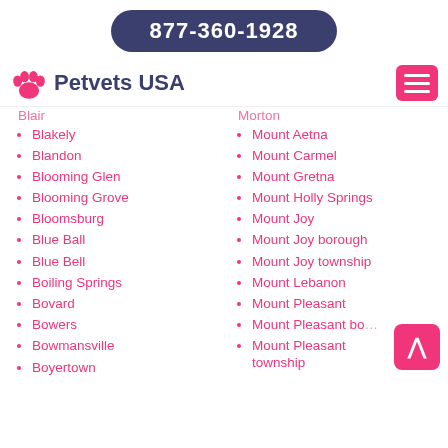877-360-1928
Petvets USA
Blair (partial, top-clipped)
Blakely
Blandon
Blooming Glen
Blooming Grove
Bloomsburg
Blue Ball
Blue Bell
Boiling Springs
Bovard
Bowers
Bowmansville
Boyertown
Morton (partial, top-clipped)
Mount Aetna
Mount Carmel
Mount Gretna
Mount Holly Springs
Mount Joy
Mount Joy borough
Mount Joy township
Mount Lebanon
Mount Pleasant
Mount Pleasant bo (partial)
Mount Pleasant township